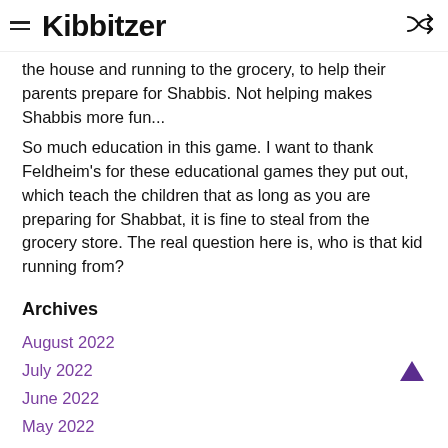Kibbitzer
the house and running to the grocery, to help their parents prepare for Shabbis. Not helping makes Shabbis more fun...
So much education in this game. I want to thank Feldheim's for these educational games they put out, which teach the children that as long as you are preparing for Shabbat, it is fine to steal from the grocery store. The real question here is, who is that kid running from?
Archives
August 2022
July 2022
June 2022
May 2022